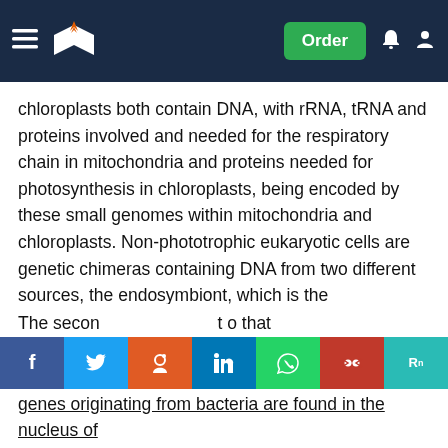Order
chloroplasts both contain DNA, with rRNA, tRNA and proteins involved and needed for the respiratory chain in mitochondria and proteins needed for photosynthesis in chloroplasts, being encoded by these small genomes within mitochondria and chloroplasts. Non-phototrophic eukaryotic cells are genetic chimeras containing DNA from two different sources, the endosymbiont, which is the mitochondria, and the host cell nucleus (Madigan, 2009 p. 520). Eukaryotes which are phototrophic, for example algae and plants, have DNA from two endosymbionts, the mitochondira and the chloroplasts as well as the nuclear DNA. The majority of mitochondrial DNA and chloroplast DNA is similar to bacterial DNA in its shape, which is circular and size.
The secon t o that genes originating from bacteria are found in the nucleus of